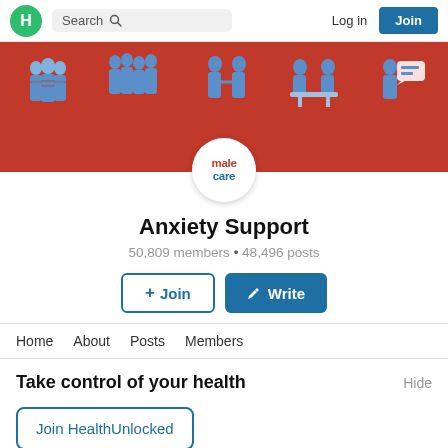H  Search  Log in  Join
[Figure (illustration): Red banner with blue/white illustrated figures in group, meeting, and communication scenes. MaleCare circular logo centered at bottom.]
Anxiety Support
50,809 members • 48,496 posts
+ Join  ✎ Write
Home  About  Posts  Members
Take control of your health
Hide
Join HealthUnlocked